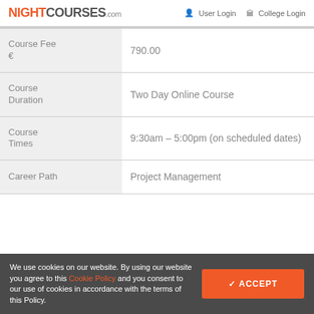NIGHTCOURSES.com | User Login | College Login
| Course Fee € | 790.00 |
| Course Duration | Two Day Online Course |
| Course Times | 9:30am – 5:00pm (on scheduled dates) |
| Career Path | Project Management |
We use cookies on our website. By using our website you agree to this Cookie Policy and you consent to our use of cookies in accordance with the terms of this Policy.